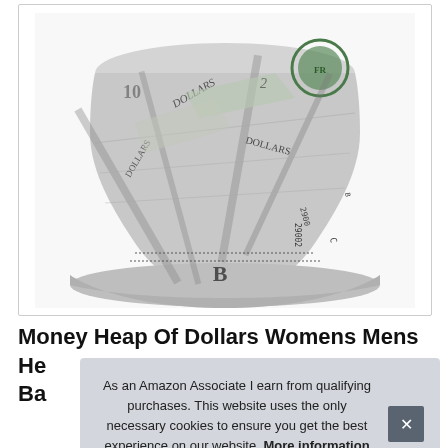[Figure (photo): A bucket hat with a dollar bill / money print pattern (US currency imagery with text 'DOLLARS', serial numbers, and green Federal Reserve seal details). The hat is white/grey with green accents.]
Money Heap Of Dollars Womens Mens He Ba
As an Amazon Associate I earn from qualifying purchases. This website uses the only necessary cookies to ensure you get the best experience on our website. More information